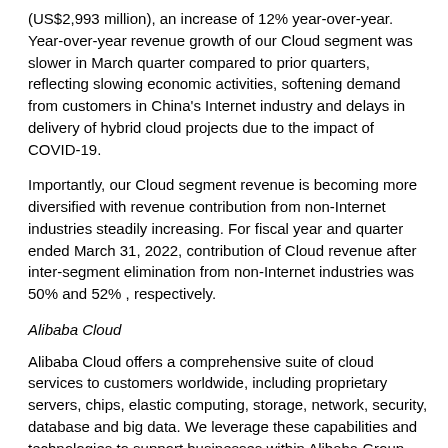(US$2,993 million), an increase of 12% year-over-year. Year-over-year revenue growth of our Cloud segment was slower in March quarter compared to prior quarters, reflecting slowing economic activities, softening demand from customers in China's Internet industry and delays in delivery of hybrid cloud projects due to the impact of COVID-19.
Importantly, our Cloud segment revenue is becoming more diversified with revenue contribution from non-Internet industries steadily increasing. For fiscal year and quarter ended March 31, 2022, contribution of Cloud revenue after inter-segment elimination from non-Internet industries was 50% and 52% , respectively.
Alibaba Cloud
Alibaba Cloud offers a comprehensive suite of cloud services to customers worldwide, including proprietary servers, chips, elastic computing, storage, network, security, database and big data. We leverage these capabilities and technologies to support businesses within Alibaba Group and provide our customers across various verticals with industry-specific solutions, including those for financial services, telecommunications, retail, and industrial applications. Alibaba Cloud continues to expand internationally with strong customer growth. As of March 31, 2022, Alibaba Cloud offers